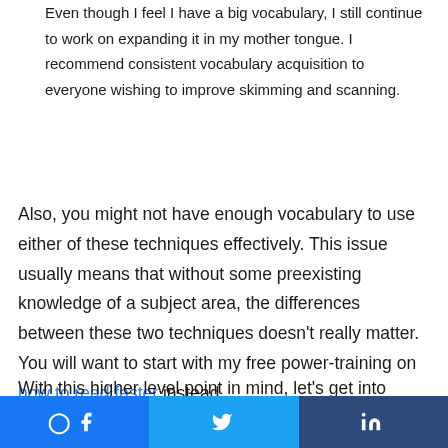Even though I feel I have a big vocabulary, I still continue to work on expanding it in my mother tongue. I recommend consistent vocabulary acquisition to everyone wishing to improve skimming and scanning.
Also, you might not have enough vocabulary to use either of these techniques effectively. This issue usually means that without some preexisting knowledge of a subject area, the differences between these two techniques doesn't really matter. You will want to start with my free power-training on how to read faster instead.
With this higher level point in mind, let's get into some definitions that show how and why these techniques
Facebook Twitter LinkedIn